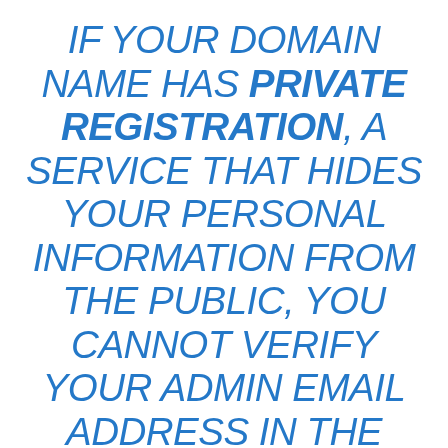IF YOUR DOMAIN NAME HAS PRIVATE REGISTRATION, A SERVICE THAT HIDES YOUR PERSONAL INFORMATION FROM THE PUBLIC, YOU CANNOT VERIFY YOUR ADMIN EMAIL ADDRESS IN THE WHOIS DATABASE. YOU MUST CONTACT YOUR CURRENT REGISTRAR TO CANCEL THE PRIVATE REGISTRATION, AND THEN YOU CAN UPDATE THE